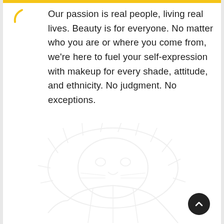Our passion is real people, living real lives. Beauty is for everyone. No matter who you are or where you come from, we're here to fuel your self-expression with makeup for every shade, attitude, and ethnicity. No judgment. No exceptions.
[Figure (illustration): A faint watermark-style illustration of a lion or animal face, light grey on white background, decorative brand element.]